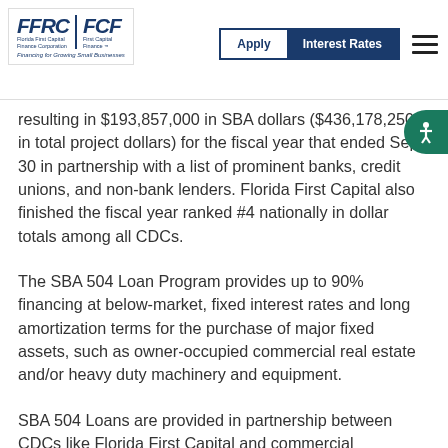Florida First Capital Finance Corporation | First Capital Finance — Apply | Interest Rates
resulting in $193,857,000 in SBA dollars ($436,178,250 in total project dollars) for the fiscal year that ended Sept. 30 in partnership with a list of prominent banks, credit unions, and non-bank lenders. Florida First Capital also finished the fiscal year ranked #4 nationally in dollar totals among all CDCs.
The SBA 504 Loan Program provides up to 90% financing at below-market, fixed interest rates and long amortization terms for the purchase of major fixed assets, such as owner-occupied commercial real estate and/or heavy duty machinery and equipment.
SBA 504 Loans are provided in partnership between CDCs like Florida First Capital and commercial